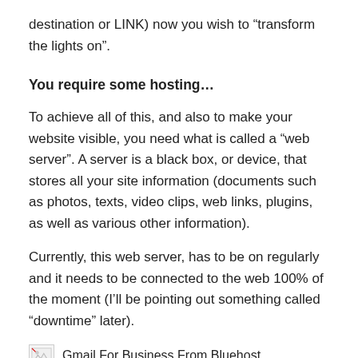destination or LINK) now you wish to “transform the lights on”.
You require some hosting…
To achieve all of this, and also to make your website visible, you need what is called a “web server”. A server is a black box, or device, that stores all your site information (documents such as photos, texts, video clips, web links, plugins, as well as various other information).
Currently, this web server, has to be on regularly and it needs to be connected to the web 100% of the moment (I’ll be pointing out something called “downtime” later).
[Figure (other): Broken image placeholder with caption: Gmail For Business From Bluehost]